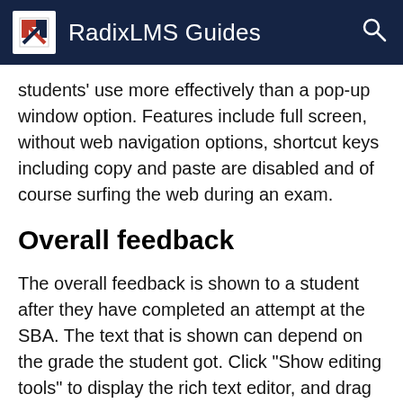RadixLMS Guides
students' use more effectively than a pop-up window option. Features include full screen, without web navigation options, shortcut keys including copy and paste are disabled and of course surfing the web during an exam.
Overall feedback
The overall feedback is shown to a student after they have completed an attempt at the SBA. The text that is shown can depend on the grade the student got. Click "Show editing tools" to display the rich text editor, and drag the bottom right of the text box out to expand it.
For example, if you entered: